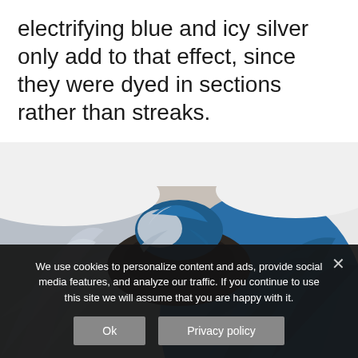electrifying blue and icy silver only add to that effect, since they were dyed in sections rather than streaks.
[Figure (photo): Close-up top view of a person's head showing hair dyed in two sections: one side icy silver/grey and the other side electrifying blue, twisted into a bun at the top.]
We use cookies to personalize content and ads, provide social media features, and analyze our traffic. If you continue to use this site we will assume that you are happy with it.
Ok
Privacy policy